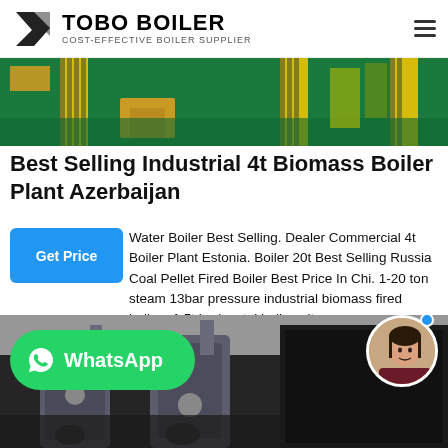TOBO BOILER — COST-EFFECTIVE BOILER SUPPLIER
[Figure (photo): Industrial facility interior with yellow safety striped pillars, green floor, equipment and machinery visible]
Best Selling Industrial 4t Biomass Boiler Plant Azerbaijan
Water Boiler Best Selling. Dealer Commercial 4t Boiler Plant Estonia. Boiler 20t Best Selling Russia Coal Pellet Fired Boiler Best Price In Chi. 1-20 ton steam 13bar pressure industrial biomass fired boilers 1.5t horizontal boiler wit…
[Figure (photo): Industrial boiler room with large cylindrical boilers, pipes, and equipment in dark industrial setting, with WhatsApp button overlay and customer service avatar]